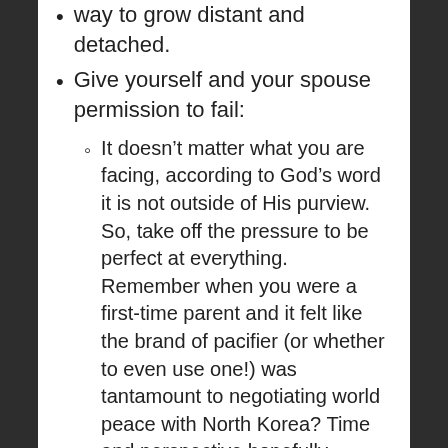way to grow distant and detached.
Give yourself and your spouse permission to fail:
It doesn't matter what you are facing, according to God's word it is not outside of His purview. So, take off the pressure to be perfect at everything. Remember when you were a first-time parent and it felt like the brand of pacifier (or whether to even use one!) was tantamount to negotiating world peace with North Korea? Time and perspective hopefully allowed you to see that your child's success in life will never be determined by such a small decision. Now, I'm not suggesting that the decisions our family faced in light